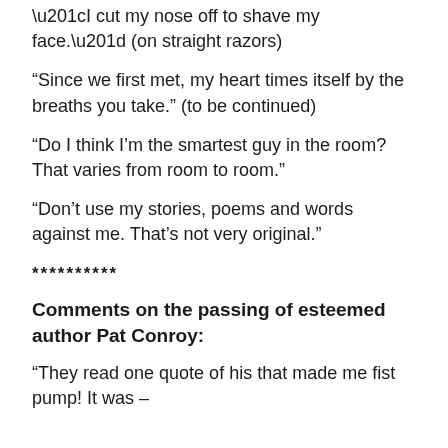“I cut my nose off to shave my face.” (on straight razors)
“Since we first met, my heart times itself by the breaths you take.” (to be continued)
“Do I think I’m the smartest guy in the room? That varies from room to room.”
“Don’t use my stories, poems and words against me. That’s not very original.”
**********
Comments on the passing of esteemed author Pat Conroy:
“They read one quote of his that made me fist pump! It was –